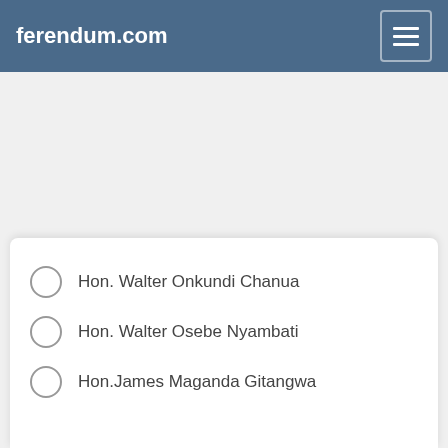ferendum.com
Hon. Walter Onkundi Chanua
Hon. Walter Osebe Nyambati
Hon.James Maganda Gitangwa